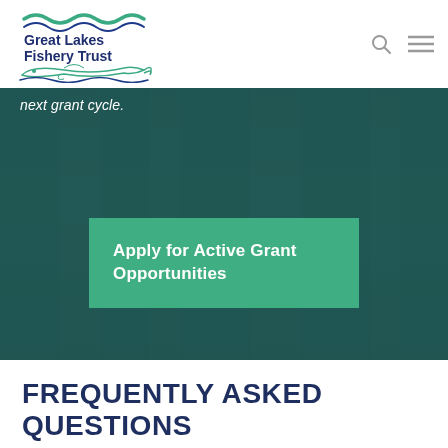[Figure (logo): Great Lakes Fishery Trust logo with green wave, blue text, and fish silhouette]
[Figure (photo): Dark teal underwater/fishery background photo with partial italic text 'next grant cycle.' visible at top]
Apply for Active Grant Opportunities
FREQUENTLY ASKED QUESTIONS